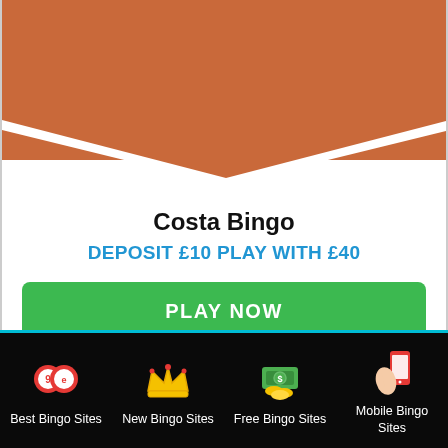[Figure (illustration): Terracotta orange chevron/arrow pointing downward at the top of a casino offer card]
Costa Bingo
DEPOSIT £10 PLAY WITH £40
[Figure (illustration): Green PLAY NOW button]
[Figure (illustration): 4 and a half gold stars rating]
Best Bingo Sites | New Bingo Sites | Free Bingo Sites | Mobile Bingo Sites